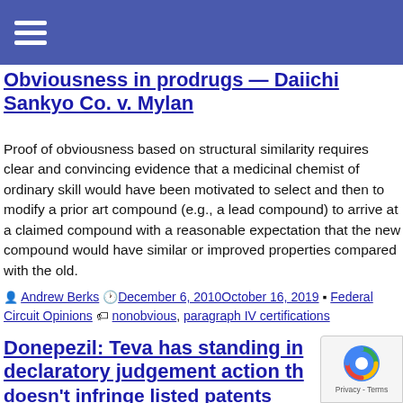≡
Obviousness in prodrugs — Daiichi Sankyo Co. v. Mylan
Proof of obviousness based on structural similarity requires clear and convincing evidence that a medicinal chemist of ordinary skill would have been motivated to select and then to modify a prior art compound (e.g., a lead compound) to arrive at a claimed compound with a reasonable expectation that the new compound would have similar or improved properties compared with the old.
Andrew Berks  December 6, 2010October 16, 2019  Federal Circuit Opinions  nonobvious, paragraph IV certifications
Donepezil: Teva has standing in declaratory judgement action th... doesn't infringe listed patents